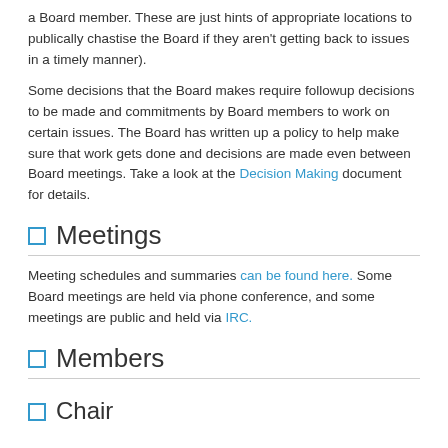a Board member. These are just hints of appropriate locations to publically chastise the Board if they aren't getting back to issues in a timely manner).
Some decisions that the Board makes require followup decisions to be made and commitments by Board members to work on certain issues. The Board has written up a policy to help make sure that work gets done and decisions are made even between Board meetings. Take a look at the Decision Making document for details.
Meetings
Meeting schedules and summaries can be found here. Some Board meetings are held via phone conference, and some meetings are public and held via IRC.
Members
Chair